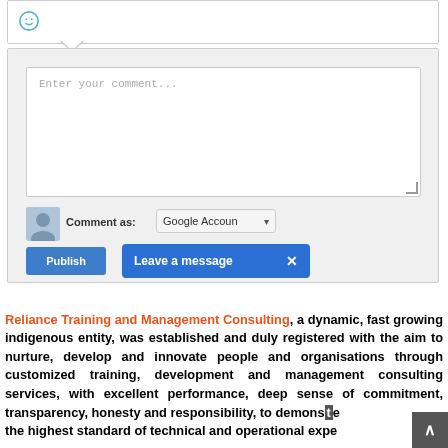[Figure (screenshot): A blog/website comment interface showing: a smiley face emoji bar at top, a text area with 'Enter your comment...' placeholder, a user avatar icon, 'Comment as: Google Account' dropdown, a blue 'Publish' button, and a blue 'Leave a message' popup button with an X close icon.]
Reliance Training and Management Consulting, a dynamic, fast growing indigenous entity, was established and duly registered with the aim to nurture, develop and innovate people and organisations through customized training, development and management consulting services, with excellent performance, deep sense of commitment, transparency, honesty and responsibility, to demonstrate the highest standard of technical and operational exper...